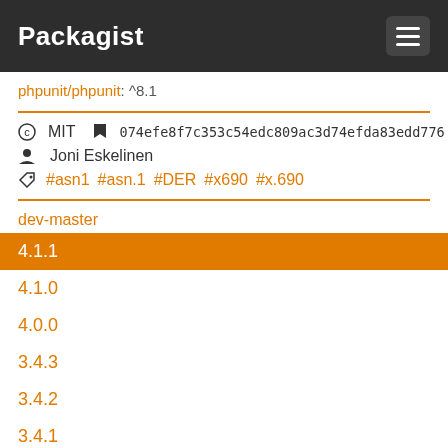Packagist
phpunit/phpunit: ^8.1
© MIT  074efe8f7c353c54edc809ac3d74efda83edd776
Joni Eskelinen
#asn1  #asn.1  #DER  #x690  #x.690
dev-master
4.1.1
4.1.0
4.0.0
3.4.3
3.4.2
3.4.1
3.4.0